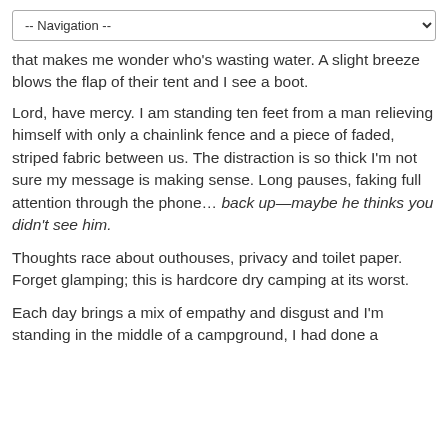-- Navigation --
that makes me wonder who's wasting water. A slight breeze blows the flap of their tent and I see a boot.
Lord, have mercy. I am standing ten feet from a man relieving himself with only a chainlink fence and a piece of faded, striped fabric between us. The distraction is so thick I'm not sure my message is making sense. Long pauses, faking full attention through the phone… back up—maybe he thinks you didn't see him.
Thoughts race about outhouses, privacy and toilet paper. Forget glamping; this is hardcore dry camping at its worst.
Each day brings a mix of empathy and disgust and I'm standing in the middle of a campground, I had done a